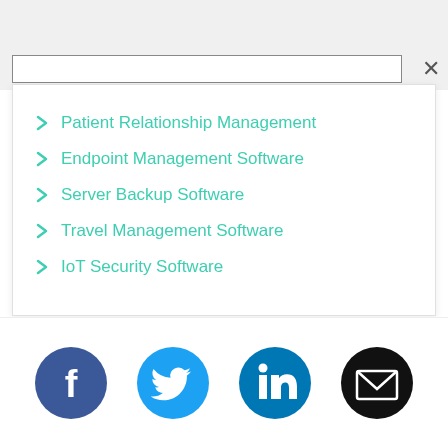Patient Relationship Management
Endpoint Management Software
Server Backup Software
Travel Management Software
IoT Security Software
[Figure (infographic): Social media share icons: Facebook (blue circle), Twitter (light blue circle), LinkedIn (blue circle), Email (black circle)]